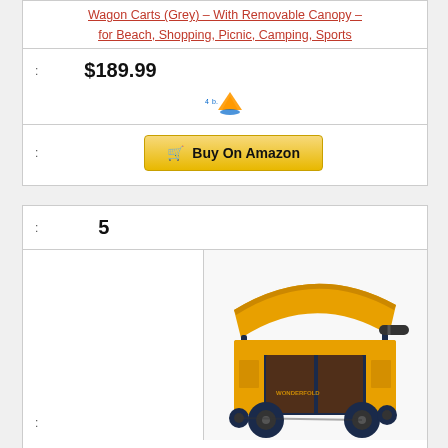Wagon Carts (Grey) – With Removable Canopy – for Beach, Shopping, Picnic, Camping, Sports
: $189.99
[Figure (logo): Amazon seller logo (orange triangle with blue wave)]
: Buy On Amazon
: 5
[Figure (photo): Orange and dark navy blue wagon/stroller cart with canopy, multiple seats, pockets, and large black wheels]
: